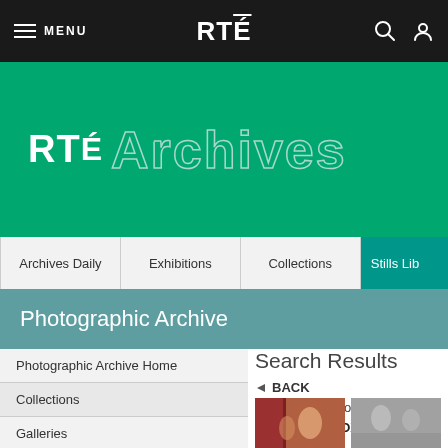MENU | RTÉ
[Figure (logo): RTÉ Archives logo on green background]
Archives Daily | Exhibitions | Collections | Stills Lib
Photographic Archive
Photographic Archive Home
Collections
Galleries
Lightbox (my selections)
Register
Search Results
BACK
58102 images found
VIEW LIGHTBOX
[Figure (photo): Thumbnail photo showing two people near a red door]
[Figure (photo): Thumbnail photo showing people in a room]